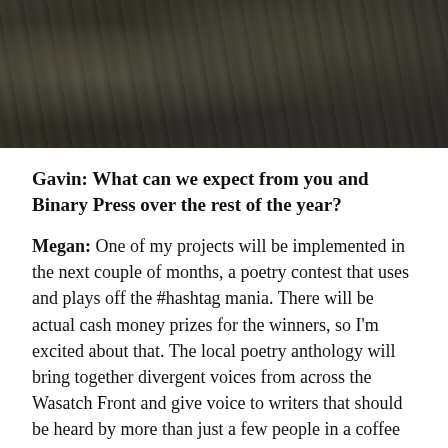[Figure (photo): Dark, blurry photograph showing people in dark clothing, high contrast monochromatic tones]
Gavin: What can we expect from you and Binary Press over the rest of the year?
Megan: One of my projects will be implemented in the next couple of months, a poetry contest that uses and plays off the #hashtag mania. There will be actual cash money prizes for the winners, so I’m excited about that. The local poetry anthology will bring together divergent voices from across the Wasatch Front and give voice to writers that should be heard by more than just a few people in a coffee shop.